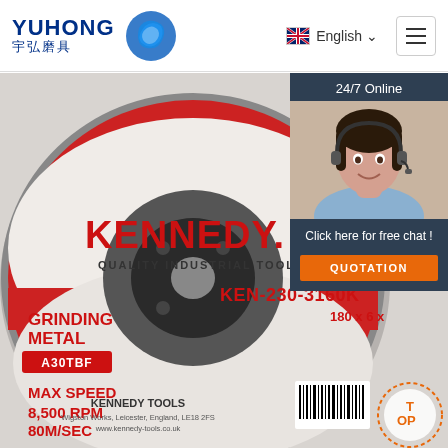YUHONG 宇弘磨具 | English | menu
[Figure (photo): Kennedy grinding disc/wheel product photo. Red and white label showing: KENNEDY QUALITY INDUSTRIAL TOOLING, KEN-230-3160K, 180x6x, GRINDING METAL, A30TBF, MAX SPEED 8,500 RPM 80M/SEC, KENNEDY TOOLS, Wigston Works Leicester England LE18 2FS, www.kennedy-tools.co.uk. Barcode visible bottom right. TOP dotted logo bottom right corner.]
24/7 Online
Click here for free chat !
QUOTATION